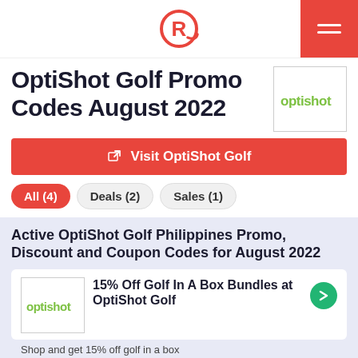Rappler logo and navigation header
OptiShot Golf Promo Codes August 2022
[Figure (logo): OptiShot logo in a bordered box]
Visit OptiShot Golf
All (4)
Deals (2)
Sales (1)
Active OptiShot Golf Philippines Promo, Discount and Coupon Codes for August 2022
[Figure (logo): OptiShot logo in coupon card]
15% Off Golf In A Box Bundles at OptiShot Golf
Shop and get 15% off golf in a box